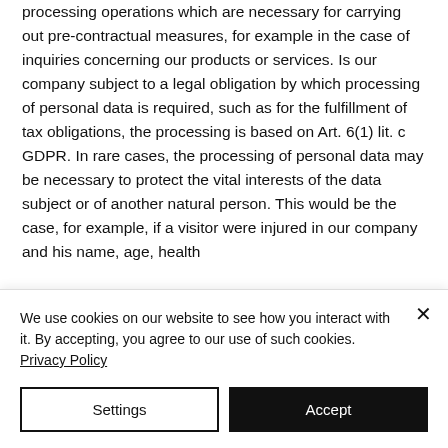processing operations which are necessary for carrying out pre-contractual measures, for example in the case of inquiries concerning our products or services. Is our company subject to a legal obligation by which processing of personal data is required, such as for the fulfillment of tax obligations, the processing is based on Art. 6(1) lit. c GDPR. In rare cases, the processing of personal data may be necessary to protect the vital interests of the data subject or of another natural person. This would be the case, for example, if a visitor were injured in our company and his name, age, health
We use cookies on our website to see how you interact with it. By accepting, you agree to our use of such cookies. Privacy Policy